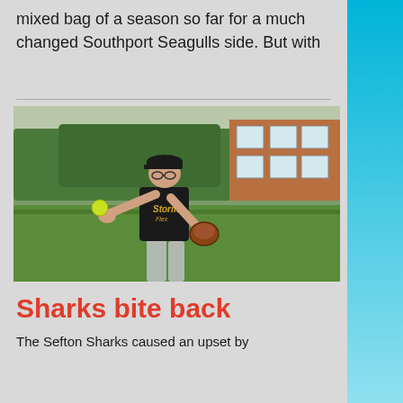mixed bag of a season so far for a much changed Southport Seagulls side. But with
[Figure (photo): A softball player in a black jersey and cap reaching out to catch a yellow softball with a gloved left hand, standing on a green field with trees and a brick building in the background.]
Sharks bite back
The Sefton Sharks caused an upset by